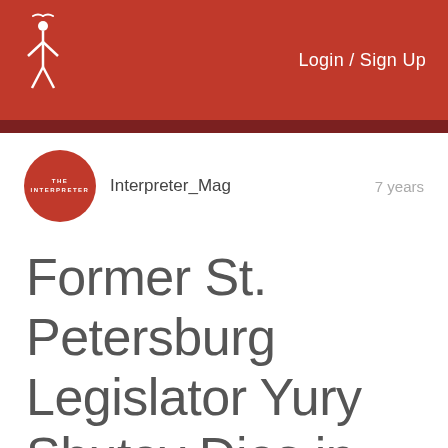Login / Sign Up
Interpreter_Mag   7 years
Former St. Petersburg Legislator Yury Shutov Dies in Prison